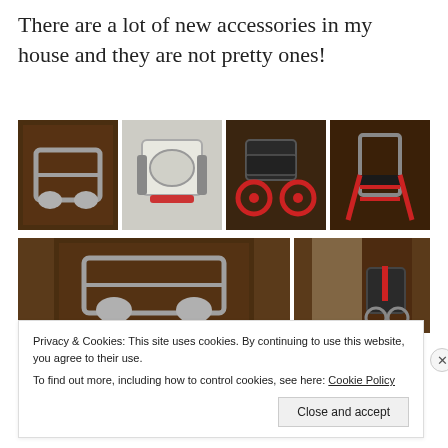There are a lot of new accessories in my house and they are not pretty ones!
[Figure (photo): Row of four photos showing mobility/accessibility equipment including shower/commode chairs, a wheelchair, and a walker with red straps in a wood-paneled room]
[Figure (photo): Two photos showing similar accessibility equipment - a shower chair and hallway with wheelchair visible]
Privacy & Cookies: This site uses cookies. By continuing to use this website, you agree to their use.
To find out more, including how to control cookies, see here: Cookie Policy
Close and accept